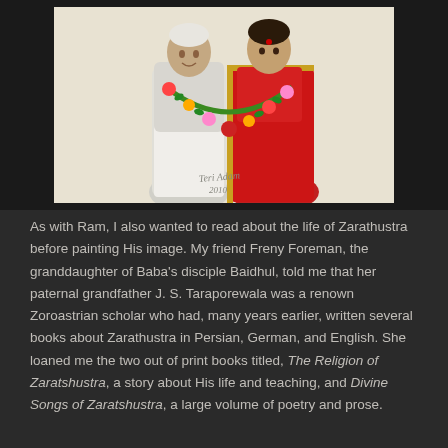[Figure (illustration): A watercolor illustration of two figures in traditional Indian/Zoroastrian attire. One figure wears white garments and the other wears a red sari/outfit. Both are adorned with colorful flower garlands. The artist's signature reads 'Teri Adam 2010' in the lower center of the image.]
As with Ram, I also wanted to read about the life of Zarathustra before painting His image. My friend Freny Foreman, the granddaughter of Baba's disciple Baidhul, told me that her paternal grandfather J. S. Taraporewala was a renown Zoroastrian scholar who had, many years earlier, written several books about Zarathustra in Persian, German, and English. She loaned me the two out of print books titled, The Religion of Zaratshustra, a story about His life and teaching, and Divine Songs of Zaratshustra, a large volume of poetry and prose.